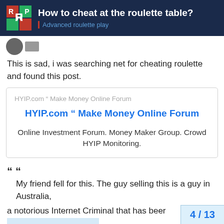How to cheat at the roulette table? | Advanced roulette play
This is sad, i was searching net for cheating roulette and found this post.
[Figure (screenshot): Link preview card for HYIP.com Make Money Online Forum showing domain, bold title in blue, and description: Online Investment Forum. Money Maker Group. Crowd HYIP Monitoring.]
““
My friend fell for this. The guy selling this is a guy in Australia, a notorious Internet Criminal that has been for scamming people using the internet. Pu
4 / 13